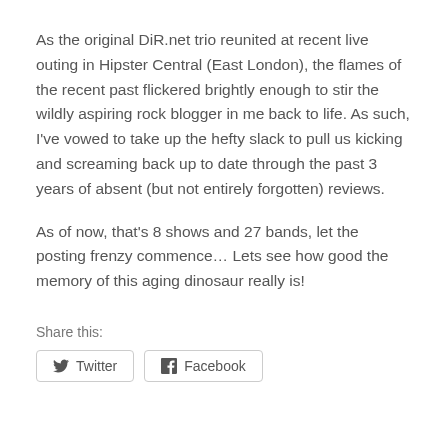As the original DiR.net trio reunited at recent live outing in Hipster Central (East London), the flames of the recent past flickered brightly enough to stir the wildly aspiring rock blogger in me back to life. As such, I've vowed to take up the hefty slack to pull us kicking and screaming back up to date through the past 3 years of absent (but not entirely forgotten) reviews.
As of now, that's 8 shows and 27 bands, let the posting frenzy commence… Lets see how good the memory of this aging dinosaur really is!
Share this: